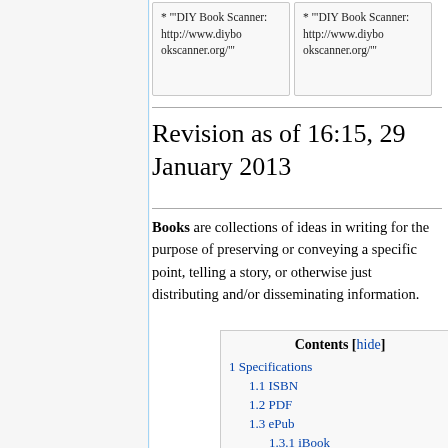* '"DIY Book Scanner: http://www.diybookscanner.org/'"
* '"DIY Book Scanner: http://www.diybookscanner.org/'"
Revision as of 16:15, 29 January 2013
Books are collections of ideas in writing for the purpose of preserving or conveying a specific point, telling a story, or otherwise just distributing and/or disseminating information.
| Contents | [hide] |
| --- | --- |
| 1 Specifications |  |
| 1.1 ISBN |  |
| 1.2 PDF |  |
| 1.3 ePub |  |
| 1.3.1 iBook |  |